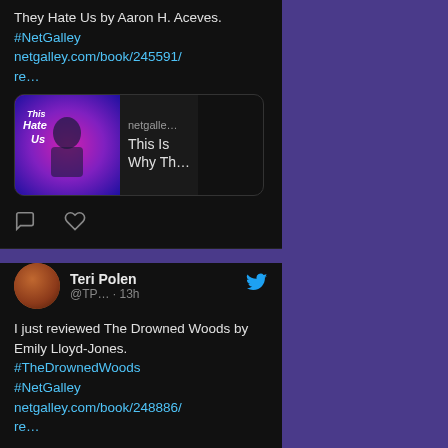They Hate Us by Aaron H. Aceves. #NetGalley netgalley.com/book/245591/re…
[Figure (screenshot): Link preview card showing book cover for 'This Is Why Th...' on netgalle... with a pink/purple book cover image.]
Teri Polen @TP... · 13h
I just reviewed The Drowned Woods by Emily Lloyd-Jones. #TheDrownedWoods #NetGalley netgalley.com/book/248886/re…